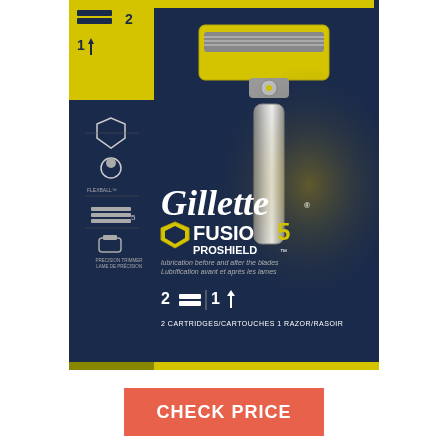[Figure (photo): Gillette Fusion5 ProShield razor product packaging. Dark blue/navy packaging with yellow and chrome razor shown. Package indicates 2 cartridges and 1 razor. Features Gillette logo in white, Fusion5 ProShield branding, shield icon, and text 'lubrication before and after the blades'. Package also shows feature icons on left side including FlexBall technology and 5-blade design.]
CHECK PRICE